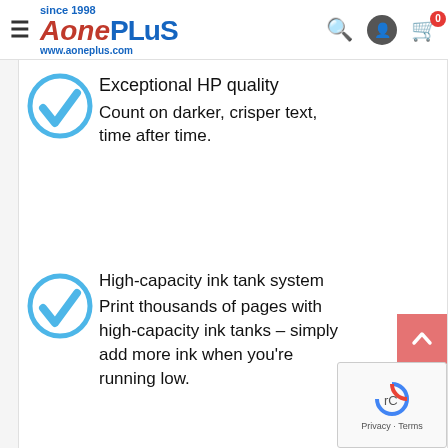Aone Plus – since 1998 – www.aoneplus.com
Exceptional HP quality – Count on darker, crisper text, time after time.
High-capacity ink tank system – Print thousands of pages with high-capacity ink tanks – simply add more ink when you're running low.